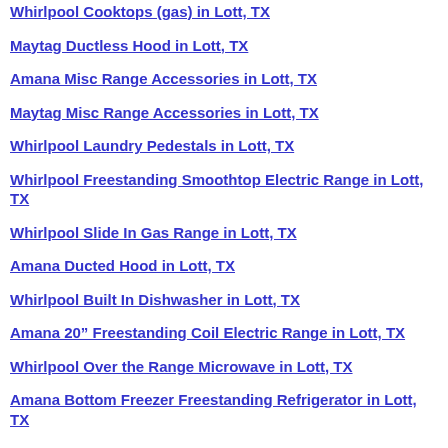Whirlpool Cooktops (gas) in Lott, TX
Maytag Ductless Hood in Lott, TX
Amana Misc Range Accessories in Lott, TX
Maytag Misc Range Accessories in Lott, TX
Whirlpool Laundry Pedestals in Lott, TX
Whirlpool Freestanding Smoothtop Electric Range in Lott, TX
Whirlpool Slide In Gas Range in Lott, TX
Amana Ducted Hood in Lott, TX
Whirlpool Built In Dishwasher in Lott, TX
Amana 20” Freestanding Coil Electric Range in Lott, TX
Whirlpool Over the Range Microwave in Lott, TX
Amana Bottom Freezer Freestanding Refrigerator in Lott, TX